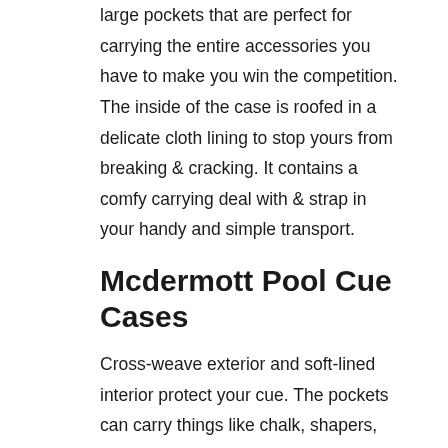large pockets that are perfect for carrying the entire accessories you have to make you win the competition. The inside of the case is roofed in a delicate cloth lining to stop yours from breaking & cracking. It contains a comfy carrying deal with & strap in your handy and simple transport.
Mcdermott Pool Cue Cases
Cross-weave exterior and soft-lined interior protect your cue. The pockets can carry things like chalk, shapers, extra tips, and other repairing tools. It is out there in three different colours that are trendy pink, clean navy blue, and traditional jet black. It is the best cue case that has all the accessories needed for preserving the gear.